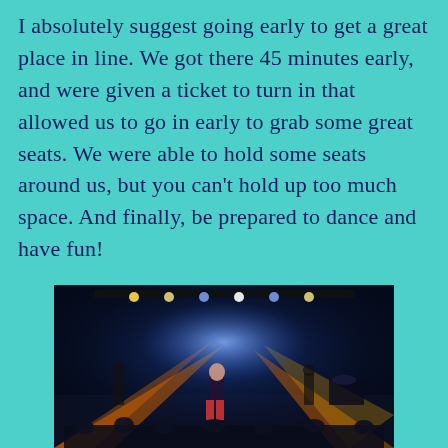I absolutely suggest going early to get a great place in line. We got there 45 minutes early, and were given a ticket to turn in that allowed us to go in early to grab some great seats. We were able to hold some seats around us, but you can't hold up too much space. And finally, be prepared to dance and have fun!
[Figure (photo): Concert photo showing a performer on stage with colorful stage lights including orange/yellow spotlights from the sides and blue lighting, dark background with crowd visible.]